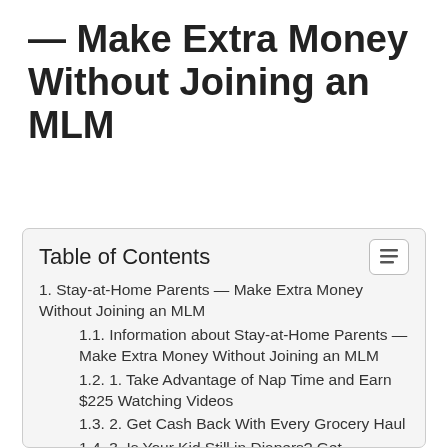— Make Extra Money Without Joining an MLM
Table of Contents
1. Stay-at-Home Parents — Make Extra Money Without Joining an MLM
1.1. Information about Stay-at-Home Parents — Make Extra Money Without Joining an MLM
1.2. 1. Take Advantage of Nap Time and Earn $225 Watching Videos
1.3. 2. Get Cash Back With Every Grocery Haul
1.4. 3. Is Your Kid Still in Diapers? Get Rewarded For Your Loyalty